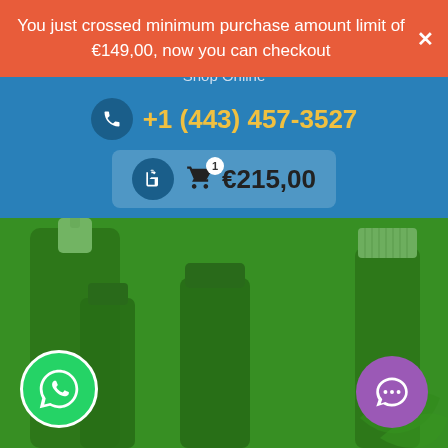You just crossed minimum purchase amount limit of €149,00, now you can checkout
EUROPE
Shop Online
+1 (443) 457-3527
€215,00
[Figure (photo): Green-tinted photo of dark glass dropper bottles and supplement bottles on a surface with plant leaves visible]
[Figure (logo): WhatsApp green circle button with phone handset icon]
[Figure (logo): Purple circle chat button with speech bubble icon]